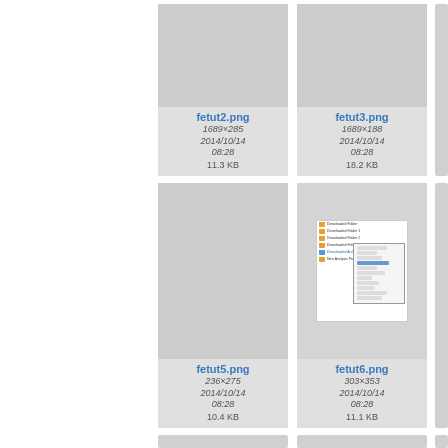[Figure (screenshot): Thumbnail card for fetut2.png showing grey image placeholder with filename, dimensions 1689×285, date 2014/10/14 08:28, size 11.3 KB]
[Figure (screenshot): Thumbnail card for fetut3.png showing grey image placeholder with filename, dimensions 1689×188, date 2014/10/14 08:28, size 18.2 KB]
[Figure (screenshot): Thumbnail card for fetut5.png showing grey image placeholder with filename, dimensions 236×275, date 2014/10/14 08:28, size 10.4 KB]
[Figure (screenshot): Thumbnail card for fetut6.png showing a screenshot of a Windows file manager context menu, dimensions 303×353, date 2014/10/14 08:28, size 11.1 KB]
[Figure (screenshot): Partially visible thumbnail card at bottom left]
[Figure (screenshot): Partially visible thumbnail card at bottom center]
[Figure (screenshot): Partially visible thumbnail card at bottom right]